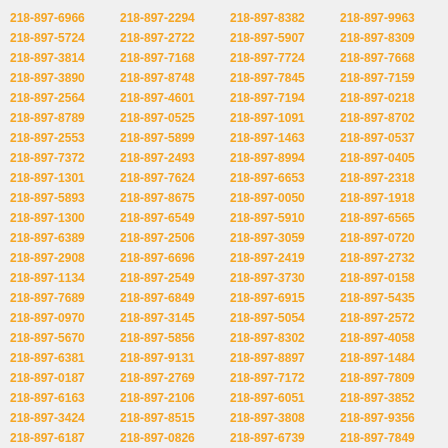218-897-6966 218-897-2294 218-897-8382 218-897-9963 218-897-5724 218-897-2722 218-897-5907 218-897-8309 218-897-3814 218-897-7168 218-897-7724 218-897-7668 218-897-3890 218-897-8748 218-897-7845 218-897-7159 218-897-2564 218-897-4601 218-897-7194 218-897-0218 218-897-8789 218-897-0525 218-897-1091 218-897-8702 218-897-2553 218-897-5899 218-897-1463 218-897-0537 218-897-7372 218-897-2493 218-897-8994 218-897-0405 218-897-1301 218-897-7624 218-897-6653 218-897-2318 218-897-5893 218-897-8675 218-897-0050 218-897-1918 218-897-1300 218-897-6549 218-897-5910 218-897-6565 218-897-6389 218-897-2506 218-897-3059 218-897-0720 218-897-2908 218-897-6696 218-897-2419 218-897-2732 218-897-1134 218-897-2549 218-897-3730 218-897-0158 218-897-7689 218-897-6849 218-897-6915 218-897-5435 218-897-0970 218-897-3145 218-897-5054 218-897-2572 218-897-5670 218-897-5856 218-897-8302 218-897-4058 218-897-6381 218-897-9131 218-897-8897 218-897-1484 218-897-0187 218-897-2769 218-897-7172 218-897-7809 218-897-6163 218-897-2106 218-897-6051 218-897-3852 218-897-3424 218-897-8515 218-897-3808 218-897-9356 218-897-6187 218-897-0826 218-897-6739 218-897-7849 218-897-6620 218-897-8127 218-897-0336 218-897-8863 218-897-4846 218-897-9546 218-897-0697 218-897-2710 218-897-4147 218-897-1665 218-897-9421 218-897-8739 218-897-4820 218-897-0667 218-897-8339 218-897-7347 218-897-1522 218-897-1808 218-897-5485 218-897-7388 218-897-0019 218-897-8193 218-897-4926 218-897-6453 218-897-5738 218-897-9895 218-897-0715 218-897-9858 218-897-1212 218-897-7535 218-897-5049 218-897-4771